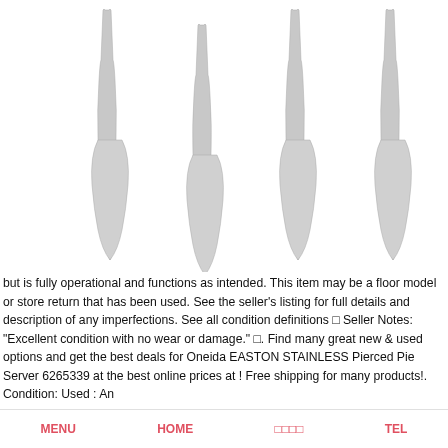[Figure (photo): Four stainless steel pie/butter servers (Oneida EASTON style) arranged vertically side by side against a white background. Each utensil has a flat wide blade at the bottom and a narrow handle at the top.]
but is fully operational and functions as intended. This item may be a floor model or store return that has been used. See the seller's listing for full details and description of any imperfections. See all condition definitions □ Seller Notes: "Excellent condition with no wear or damage." □. Find many great new & used options and get the best deals for Oneida EASTON STAINLESS Pierced Pie Server 6265339 at the best online prices at ! Free shipping for many products!. Condition: Used : An
MENU   HOME   □□□□   TEL